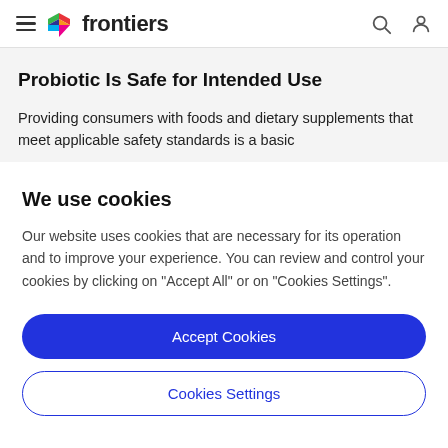frontiers
Probiotic Is Safe for Intended Use
Providing consumers with foods and dietary supplements that meet applicable safety standards is a basic
We use cookies
Our website uses cookies that are necessary for its operation and to improve your experience. You can review and control your cookies by clicking on "Accept All" or on "Cookies Settings".
Accept Cookies
Cookies Settings